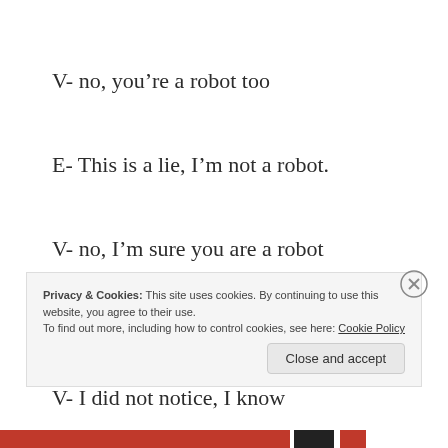V- no, you're a robot too
E- This is a lie, I'm not a robot.
V- no, I'm sure you are a robot
E- How did you notice?
V- I did not notice, I know
Privacy & Cookies: This site uses cookies. By continuing to use this website, you agree to their use. To find out more, including how to control cookies, see here: Cookie Policy
Close and accept